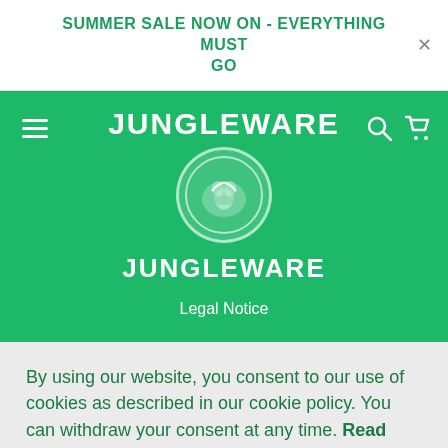SUMMER SALE NOW ON - EVERYTHING MUST GO
[Figure (logo): Jungleware brand logo with circular emblem and text JUNGLEWARE above and below the circle on a green background. Hamburger menu icon on left, search and cart icons on right.]
Legal Notice
By using our website, you consent to our use of cookies as described in our cookie policy. You can withdraw your consent at any time. Read More
Accept All Cookies
Chat with us